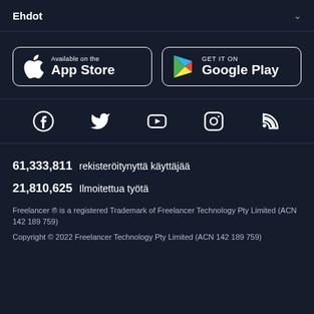Ehdot
[Figure (screenshot): App Store and Google Play store download buttons]
[Figure (infographic): Social media icons: Facebook, Twitter, YouTube, Instagram, RSS]
61,333,811 rekisteröitynyttä käyttäjää
21,810,625 Ilmoitettua työtä
Freelancer ® is a registered Trademark of Freelancer Technology Pty Limited (ACN 142 189 759)
Copyright © 2022 Freelancer Technology Pty Limited (ACN 142 189 759)